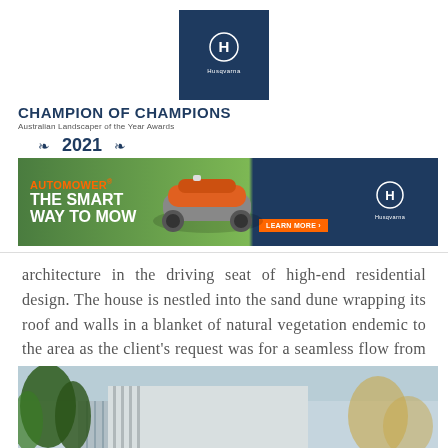[Figure (logo): Husqvarna logo in dark navy blue square box with white crown/shield icon and 'Husqvarna' text below]
CHAMPION OF CHAMPIONS
Australian Landscaper of the Year Awards
2021
[Figure (infographic): Husqvarna Automower advertisement banner showing robotic mower on green lawn with text 'AUTOMOWER® THE SMART WAY TO MOW' and 'LEARN MORE' button, Husqvarna logo on right side]
architecture in the driving seat of high-end residential design. The house is nestled into the sand dune wrapping its roof and walls in a blanket of natural vegetation endemic to the area as the client's request was for a seamless flow from the National park into the house.
[Figure (photo): Exterior photo of modern residential building with trees/plants in foreground, light blue sky background, vertical facade elements visible]